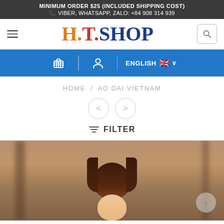MINIMUM ORDER $25 (INCLUDED SHIPPING COST)
VIBER, WHATSAPP, ZALO: +84 908 314 939
[Figure (logo): H.T.SHOP colorful logo with orange H, red T, blue SHOP lettering]
[Figure (screenshot): Blue navigation bar with cart icon, user icon, and ENGLISH language selector with UK flag]
HOME / AO DAI VIETNAM
≡ FILTER
[Figure (photo): Product photo showing a woman wearing Vietnamese Ao Dai dress, blurred architectural background]